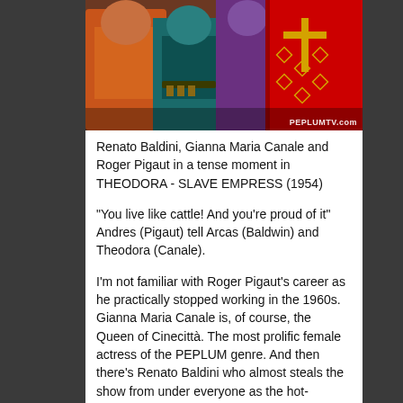[Figure (screenshot): Movie still from THEODORA - SLAVE EMPRESS (1954) showing actors in costume, with PEPLUMTV.com watermark in bottom right corner]
Renato Baldini, Gianna Maria Canale and Roger Pigaut in a tense moment in THEODORA - SLAVE EMPRESS (1954)
"You live like cattle! And you're proud of it" Andres (Pigaut) tell Arcas (Baldwin) and Theodora (Canale).
I'm not familiar with Roger Pigaut's career as he practically stopped working in the 1960s. Gianna Maria Canale is, of course, the Queen of Cinecittà. The most prolific female actress of the PEPLUM genre. And then there's Renato Baldini who almost steals the show from under everyone as the hot-tempered and boisterous on and off lover of Theodora. A great movie directed by